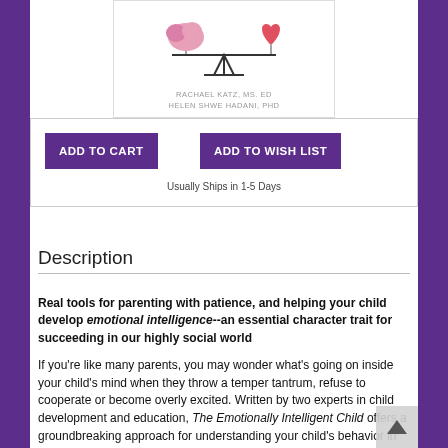[Figure (illustration): Book cover illustration showing a brain and heart on a balance/seesaw scale, with authors' names below: RACHAEL KATZ, MS. ED and HELEN SHWE HADANI, PHD]
RACHAEL KATZ, MS. ED
HELEN SHWE HADANI, PHD
ADD TO CART
ADD TO WISH LIST
Usually Ships in 1-5 Days
Description
Real tools for parenting with patience, and helping your child develop emotional intelligence--an essential character trait for succeeding in our highly social world
If you're like many parents, you may wonder what's going on inside your child's mind when they throw a temper tantrum, refuse to cooperate or become overly excited. Written by two experts in child development and education, The Emotionally Intelligent Child offers a groundbreaking approach for understanding your child's behavior in the context of their development, as well as tips for parenting with compassion,